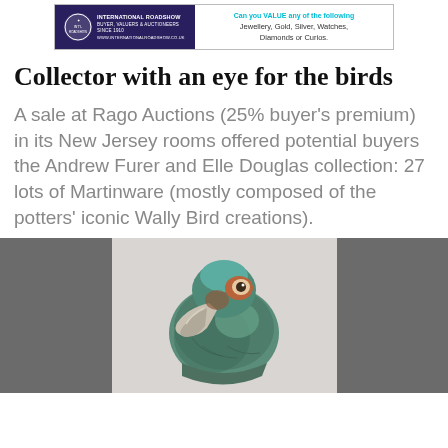[Figure (other): Advertisement banner for International Roadshow showing logo and text: 'Can you VALUE any of the following Jewellery, Gold, Silver, Watches, Diamonds or Curios.']
Collector with an eye for the birds
A sale at Rago Auctions (25% buyer's premium) in its New Jersey rooms offered potential buyers the Andrew Furer and Elle Douglas collection: 27 lots of Martinware (mostly composed of the potters' iconic Wally Bird creations).
[Figure (photo): Close-up photograph of a Martinware Wally Bird ceramic sculpture showing a bird with a large beak, teal/green and brown coloring, displayed against a grey background.]